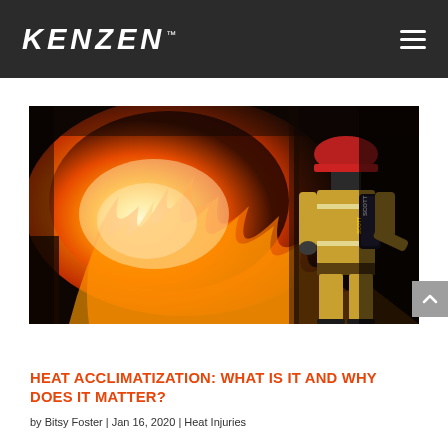KENZEN™
[Figure (photo): A firefighter in full gear with red helmet and SCOTT oxygen tank on their back, facing a large building fire with intense orange flames and smoke]
HEAT ACCLIMATIZATION: WHAT IS IT AND WHY DOES IT MATTER?
by Bitsy Foster | Jan 16, 2020 | Heat Injuries